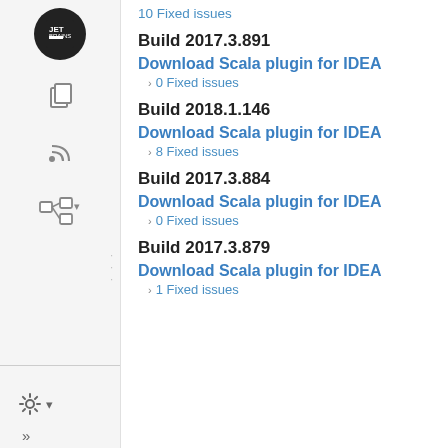10 Fixed issues
Build 2017.3.891
Download Scala plugin for IDEA
0 Fixed issues
Build 2018.1.146
Download Scala plugin for IDEA
8 Fixed issues
Build 2017.3.884
Download Scala plugin for IDEA
0 Fixed issues
Build 2017.3.879
Download Scala plugin for IDEA
1 Fixed issues